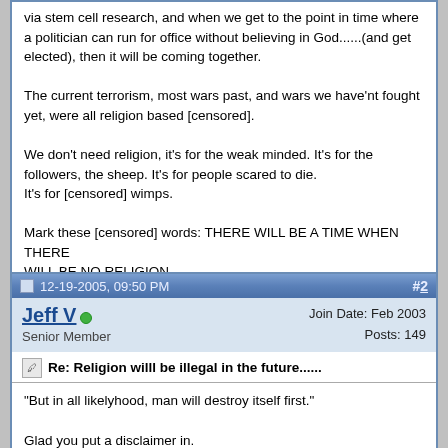via stem cell research, and when we get to the point in time where a politician can run for office without believing in God......(and get elected), then it will be coming together.

The current terrorism, most wars past, and wars we have'nt fought yet, were all religion based [censored].

We don't need religion, it's for the weak minded. It's for the followers, the sheep. It's for people scared to die.
It's for [censored] wimps.

Mark these [censored] words: THERE WILL BE A TIME WHEN THERE
WILL BE NO RELIGION.

But in all likelyhood, man will destroy itself first.
12-19-2005, 09:50 PM  #2
Jeff V  Senior Member  Join Date: Feb 2003  Posts: 149
Re: Religion willl be illegal in the future......
"But in all likelyhood, man will destroy itself first."

Glad you put a disclaimer in.